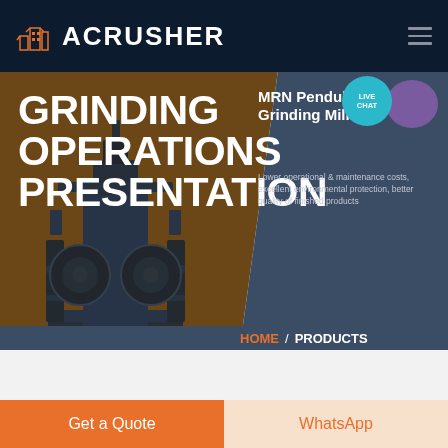ACRUSHER
GRINDING OPERATIONS PRESENTATION
[Figure (screenshot): MRN Pendulum Roller Grinding Mill machine photograph with dark navy/blue industrial grinding equipment]
MRN Pendulum Roller Grinding Mill
Lower operational & maintenance costs, excellent environmental protection, better quality of finished products
HOME / PRODUCTS
Get a Quote
WhatsApp